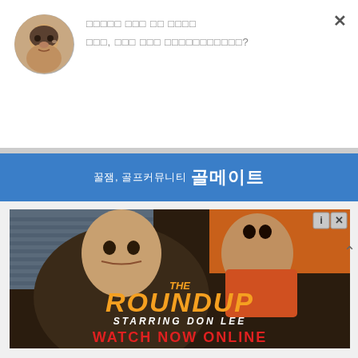[Figure (photo): Circular avatar photo of an elderly Korean woman touching her face]
□□□□□ □□□ □□ □□□□
□□□, □□□ □□□ □□□□□□□□□□□?
[Figure (infographic): Blue banner advertisement for Korean golf community app: 꿀잼, 골프커뮤니티 골메이트]
[Figure (photo): Movie advertisement for 'The Roundup' starring Don Lee. Shows two men fighting. Text: THE ROUNDUP STARRING DON LEE WATCH NOW ONLINE]